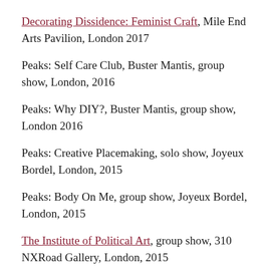Decorating Dissidence: Feminist Craft, Mile End Arts Pavilion, London 2017
Peaks: Self Care Club, Buster Mantis, group show, London, 2016
Peaks: Why DIY?, Buster Mantis, group show, London 2016
Peaks: Creative Placemaking, solo show, Joyeux Bordel, London, 2015
Peaks: Body On Me, group show, Joyeux Bordel, London, 2015
The Institute of Political Art, group show, 310 NXRoad Gallery, London, 2015